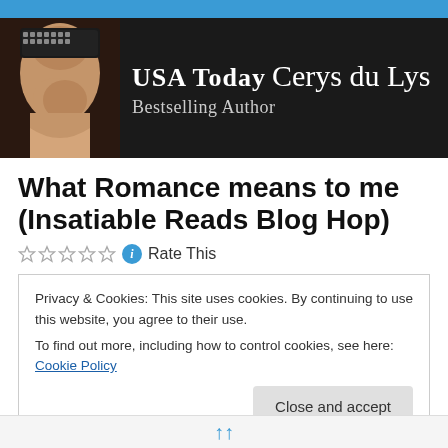[Figure (logo): Banner for USA Today Bestselling Author Cerys du Lys, with masked woman figure on dark background]
What Romance means to me (Insatiable Reads Blog Hop)
Rate This
Privacy & Cookies: This site uses cookies. By continuing to use this website, you agree to their use.
To find out more, including how to control cookies, see here: Cookie Policy
Close and accept